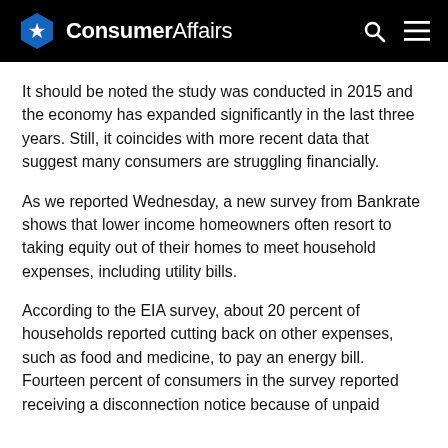ConsumerAffairs
It should be noted the study was conducted in 2015 and the economy has expanded significantly in the last three years. Still, it coincides with more recent data that suggest many consumers are struggling financially.
As we reported Wednesday, a new survey from Bankrate shows that lower income homeowners often resort to taking equity out of their homes to meet household expenses, including utility bills.
According to the EIA survey, about 20 percent of households reported cutting back on other expenses, such as food and medicine, to pay an energy bill. Fourteen percent of consumers in the survey reported receiving a disconnection notice because of unpaid